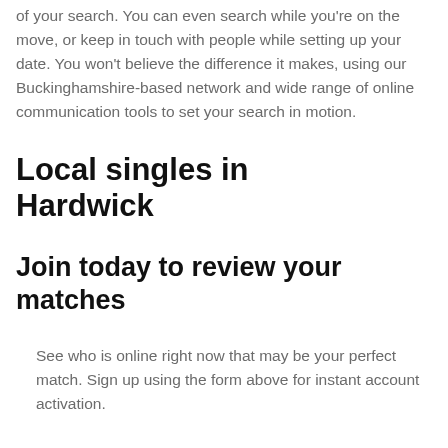of your search. You can even search while you're on the move, or keep in touch with people while setting up your date. You won't believe the difference it makes, using our Buckinghamshire-based network and wide range of online communication tools to set your search in motion.
Local singles in Hardwick
Join today to review your matches
See who is online right now that may be your perfect match. Sign up using the form above for instant account activation.